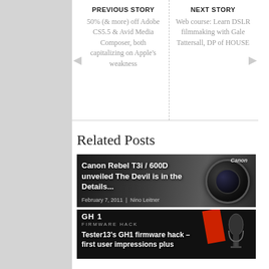PREVIOUS STORY
50% (& more) off Adobe CS5.5 & Avid Media Composer, both capitalizing on Apple's weakness
NEXT STORY
Web course: Learn DSLR filmmaking with Gale Tattersall, DP of HOUSE
Related Posts
[Figure (photo): Canon Rebel T3i / 600D camera photo with dark background]
Canon Rebel T3i / 600D unveiled The Devil is in the Details...
February 7, 2011 | Nino Leitner
[Figure (photo): GH1 Firmware Hack article thumbnail with microphone and red graphic]
Tester13's GH1 firmware hack – first user impressions plus